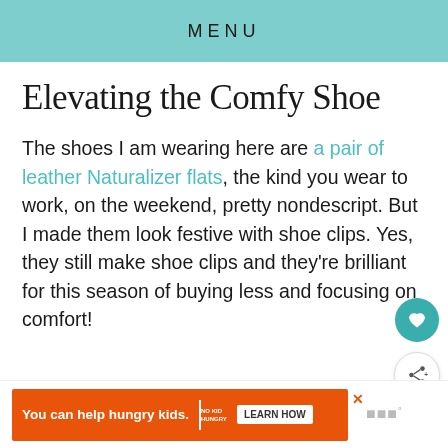MENU
Elevating the Comfy Shoe
The shoes I am wearing here are a pair of leather Naturalizer flats, the kind you wear to work, on the weekend, pretty nondescript. But I made them look festive with shoe clips. Yes, they still make shoe clips and they're brilliant for this season of buying less and focusing on comfort!
[Figure (other): Advertisement banner: orange background with text 'You can help hungry kids.' and No Kid Hungry logo and 'LEARN HOW' button]
[Figure (other): Two floating action buttons: teal heart/save button and white share button with share icon]